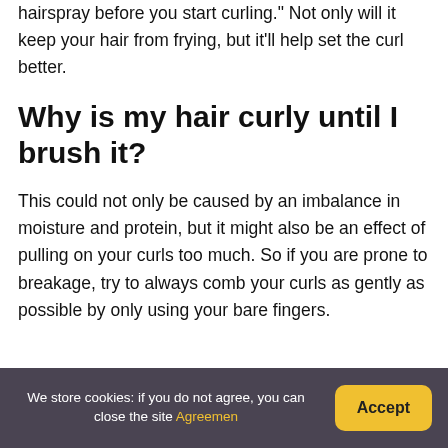hairspray before you start curling." Not only will it keep your hair from frying, but it'll help set the curl better.
Why is my hair curly until I brush it?
This could not only be caused by an imbalance in moisture and protein, but it might also be an effect of pulling on your curls too much. So if you are prone to breakage, try to always comb your curls as gently as possible by only using your bare fingers.
We store cookies: if you do not agree, you can close the site Agreemen